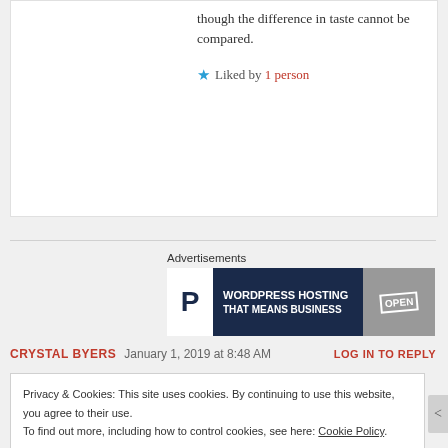though the difference in taste cannot be compared.
★ Liked by 1 person
Advertisements
[Figure (other): Advertisement banner: WordPress Hosting That Means Business with a P logo and an OPEN sign photo]
CRYSTAL BYERS  January 1, 2019 at 8:48 AM  LOG IN TO REPLY
Privacy & Cookies: This site uses cookies. By continuing to use this website, you agree to their use. To find out more, including how to control cookies, see here: Cookie Policy
Close and accept